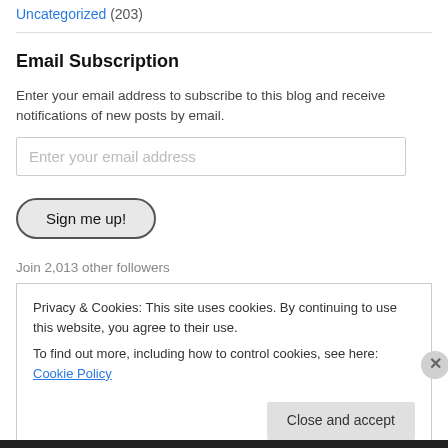Uncategorized (203)
Email Subscription
Enter your email address to subscribe to this blog and receive notifications of new posts by email.
Enter your email address
Sign me up!
Join 2,013 other followers
Privacy & Cookies: This site uses cookies. By continuing to use this website, you agree to their use.
To find out more, including how to control cookies, see here: Cookie Policy
Close and accept